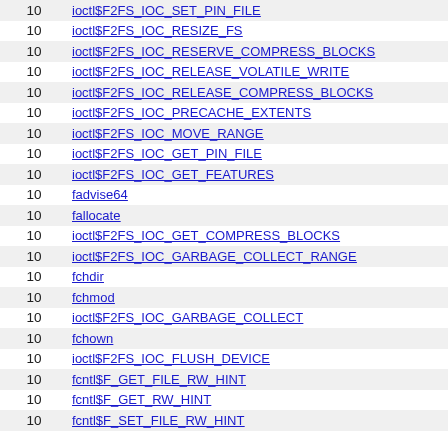|  |  |
| --- | --- |
| 10 | ioctl$F2FS_IOC_SET_PIN_FILE |
| 10 | ioctl$F2FS_IOC_RESIZE_FS |
| 10 | ioctl$F2FS_IOC_RESERVE_COMPRESS_BLOCKS |
| 10 | ioctl$F2FS_IOC_RELEASE_VOLATILE_WRITE |
| 10 | ioctl$F2FS_IOC_RELEASE_COMPRESS_BLOCKS |
| 10 | ioctl$F2FS_IOC_PRECACHE_EXTENTS |
| 10 | ioctl$F2FS_IOC_MOVE_RANGE |
| 10 | ioctl$F2FS_IOC_GET_PIN_FILE |
| 10 | ioctl$F2FS_IOC_GET_FEATURES |
| 10 | fadvise64 |
| 10 | fallocate |
| 10 | ioctl$F2FS_IOC_GET_COMPRESS_BLOCKS |
| 10 | ioctl$F2FS_IOC_GARBAGE_COLLECT_RANGE |
| 10 | fchdir |
| 10 | fchmod |
| 10 | ioctl$F2FS_IOC_GARBAGE_COLLECT |
| 10 | fchown |
| 10 | ioctl$F2FS_IOC_FLUSH_DEVICE |
| 10 | fcntl$F_GET_FILE_RW_HINT |
| 10 | fcntl$F_GET_RW_HINT |
| 10 | fcntl$F_SET_FILE_RW_HINT |